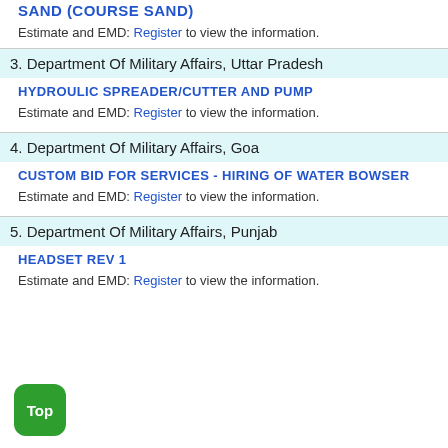SAND (COURSE SAND)
Estimate and EMD: Register to view the information.
3. Department Of Military Affairs, Uttar Pradesh
HYDROULIC SPREADER/CUTTER AND PUMP
Estimate and EMD: Register to view the information.
4. Department Of Military Affairs, Goa
CUSTOM BID FOR SERVICES - HIRING OF WATER BOWSER
Estimate and EMD: Register to view the information.
5. Department Of Military Affairs, Punjab
HEADSET REV 1
Estimate and EMD: Register to view the information.